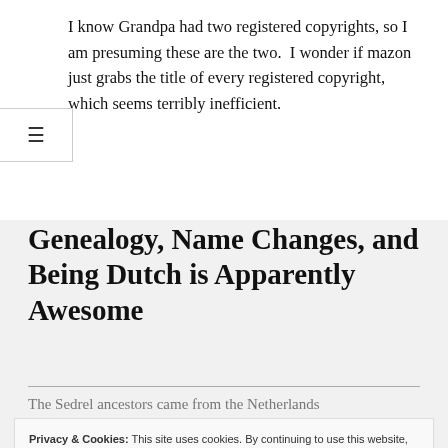I know Grandpa had two registered copyrights, so I am presuming these are the two.  I wonder if mazon just grabs the title of every registered copyright, which seems terribly inefficient.
Genealogy, Name Changes, and Being Dutch is Apparently Awesome
The Sedrel ancestors came from the Netherlands
Privacy & Cookies: This site uses cookies. By continuing to use this website, you agree to their use.
To find out more, including how to control cookies, see here: Cookie Policy
Close and accept
The change in spelling was not imposed at Ellis